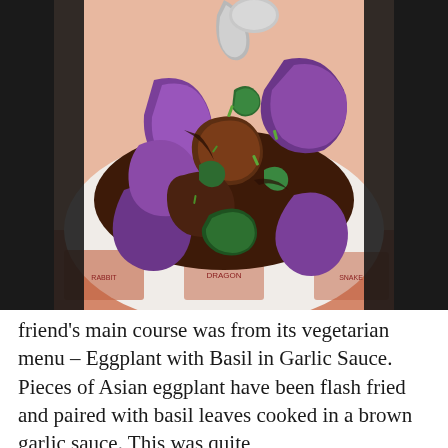[Figure (photo): Close-up photograph of Eggplant with Basil in Garlic Sauce dish. Purple Asian eggplant pieces, flash fried and coated in a dark brown garlic sauce, mixed with green basil leaves and chopped green onions, served on a white plate. The plate rests on a red-patterned placemat with Chinese zodiac animal illustrations including Rabbit, Dragon, and Snake.]
friend's main course was from its vegetarian menu – Eggplant with Basil in Garlic Sauce. Pieces of Asian eggplant have been flash fried and paired with basil leaves cooked in a brown garlic sauce. This was quite